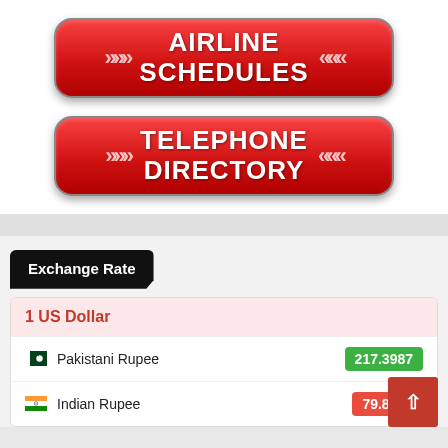[Figure (illustration): Red rounded button with white bold text 'AIRLINE SCHEDULES' and decorative arrow chevrons on left and right sides]
[Figure (illustration): Red rounded button with white bold text 'TELEPHONE DIRECTORY' and decorative arrow chevrons on left and right sides]
Exchange Rate
1 US Dollar
| Currency | Rate |
| --- | --- |
| Pakistani Rupee | 217.3987 |
| Indian Rupee | 79.8738 |